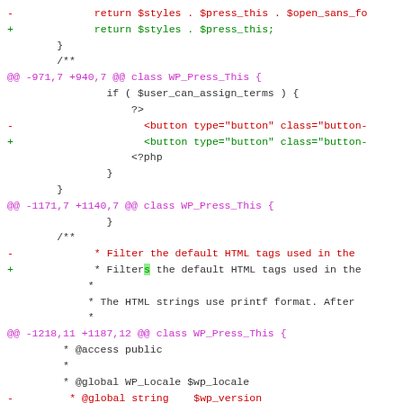[Figure (screenshot): A git diff view showing code changes in a PHP file for WordPress WP_Press_This class. Shows removed lines in red and added lines in green with hunk headers in purple/magenta.]